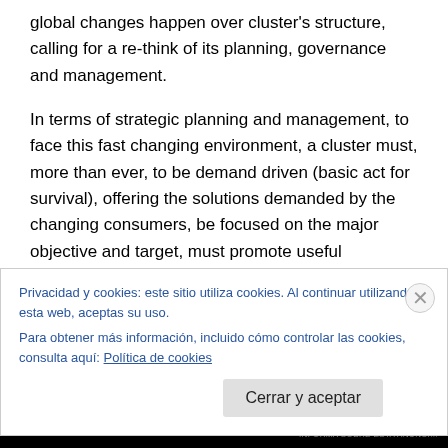global changes happen over cluster's structure, calling for a re-think of its planning, governance and management.

In terms of strategic planning and management, to face this fast changing environment, a cluster must, more than ever, to be demand driven (basic act for survival), offering the solutions demanded by the changing consumers, be focused on the major objective and target, must promote useful cooperation among partners, and one of the most important an new facts: must be always measuring and showing results of this clusters cooperation and collective
Privacidad y cookies: este sitio utiliza cookies. Al continuar utilizando esta web, aceptas su uso.
Para obtener más información, incluido cómo controlar las cookies, consulta aquí: Política de cookies
Cerrar y aceptar
INFÓRMA SOBRE ESTA ANUNCI...